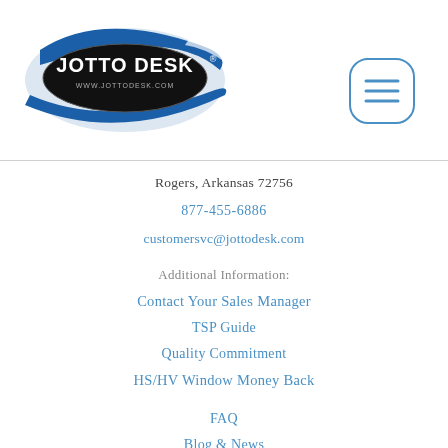[Figure (logo): Jotto Desk logo with blue swoosh design and text JOTTO DESK www.jottodesk.com on black oval]
[Figure (other): Hamburger menu button - rounded rectangle outline with three horizontal lines]
Rogers, Arkansas 72756
877-455-6886
customersvc@jottodesk.com
Additional Information:
Contact Your Sales Manager
TSP Guide
Quality Commitment
HS/HV Window Money Back
FAQ
Blog & News